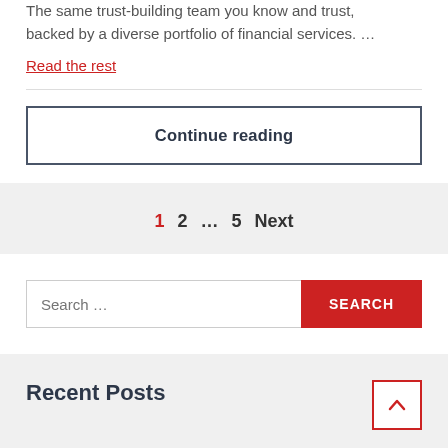The same trust-building team you know and trust, backed by a diverse portfolio of financial services. …
Read the rest
Continue reading
1   2   …   5   Next
Search …
Recent Posts